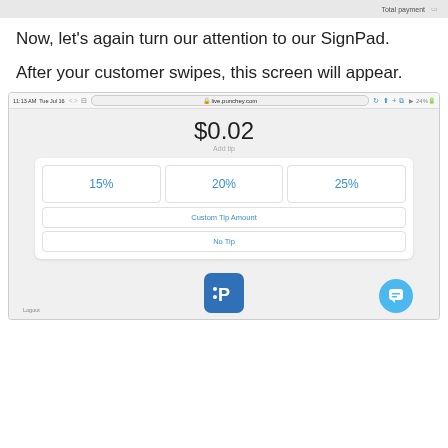Total payment
Now, let’s again turn our attention to our SignPad.
After your customer swipes, this screen will appear.
[Figure (screenshot): Screenshot of an iPad browser showing live.punchey.com with a tip selection screen displaying $0.02, tip options of 15%, 20%, 25%, Custom Tip Amount, and No Tip, along with the Punchey logo and a chat bubble.]